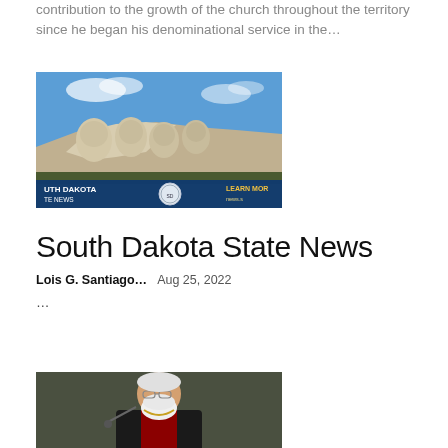contribution to the growth of the church throughout the territory since he began his denominational service in the…
[Figure (photo): Mount Rushmore with South Dakota State News banner overlay showing state seal and 'LEARN MORE' text]
South Dakota State News
Lois G. Santiago…   Aug 25, 2022
…
[Figure (photo): An elderly man with a white beard wearing black religious robes with red accents, speaking at a podium]